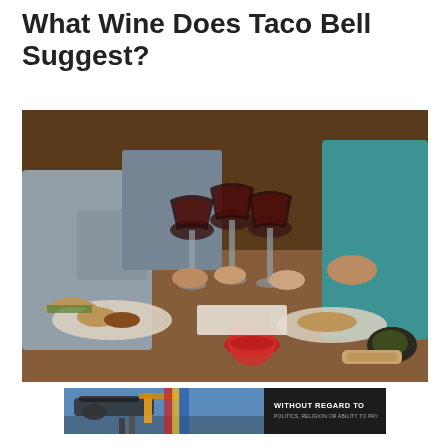What Wine Does Taco Bell Suggest?
[Figure (photo): People clinking wine glasses filled with red wine over a table spread with Mexican food including tacos, plates with various dishes, and a red bowl of salsa. One person wears a grey suit, another wears a teal top.]
[Figure (photo): Advertisement banner showing an airplane being loaded at an airport with text reading WITHOUT REGARD TO POLITICS, RELIGION OR ABILITY TO PAY.]